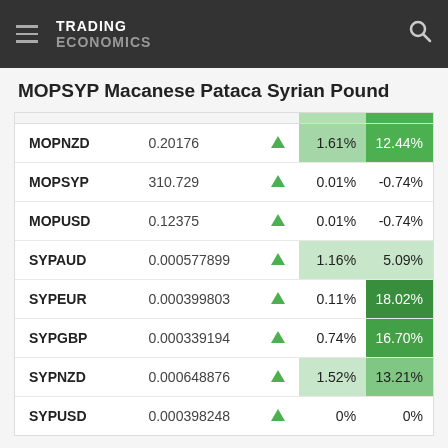TRADING ECONOMICS
MOPSYP Macanese Pataca Syrian Pound
|  |  |  | Day% | Year% |
| --- | --- | --- | --- | --- |
| MOPNZD | 0.20176 | ▲ | 1.61% | 12.44% |
| MOPSYP | 310.729 | ▲ | 0.01% | -0.74% |
| MOPUSD | 0.12375 | ▲ | 0.01% | -0.74% |
| SYPAUD | 0.000577899 | ▲ | 1.16% | 5.09% |
| SYPEUR | 0.000399803 | ▲ | 0.11% | 18.02% |
| SYPGBP | 0.000339194 | ▲ | 0.74% | 16.70% |
| SYPNZD | 0.000648876 | ▲ | 1.52% | 13.21% |
| SYPUSD | 0.000398248 | ▲ | 0% | 0% |